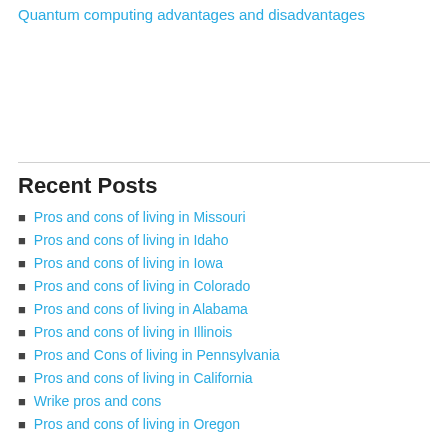Quantum computing advantages and disadvantages
Recent Posts
Pros and cons of living in Missouri
Pros and cons of living in Idaho
Pros and cons of living in Iowa
Pros and cons of living in Colorado
Pros and cons of living in Alabama
Pros and cons of living in Illinois
Pros and Cons of living in Pennsylvania
Pros and cons of living in California
Wrike pros and cons
Pros and cons of living in Oregon